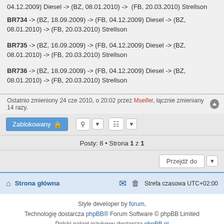04.12.2009) Diesel -> (BZ, 08.01.2010) -> (FB, 20.03.2010) Strellson
BR734 -> (BZ, 18.09.2009) -> (FB, 04.12.2009) Diesel -> (BZ, 08.01.2010) -> (FB, 20.03.2010) Strellson
BR735 -> (BZ, 16.09.2009) -> (FB, 04.12.2009) Diesel -> (BZ, 08.01.2010) -> (FB, 20.03.2010) Strellson
BR736 -> (BZ, 18.09.2009) -> (FB, 04.12.2009) Diesel -> (BZ, 08.01.2010) -> (FB, 20.03.2010) Strellson
Ostatnio zmieniony 24 cze 2010, o 20:02 przez Mseifer, łącznie zmieniany 14 razy.
Zablokowany
Posty: 8 • Strona 1 z 1
Przejdź do
Strona główna   Strefa czasowa UTC+02:00
Style developer by forum, Technologię dostarcza phpBB® Forum Software © phpBB Limited Polski pakiet językowy dostarcza phpBB.pl Zasady ochrony danych osobowych | Regulamin